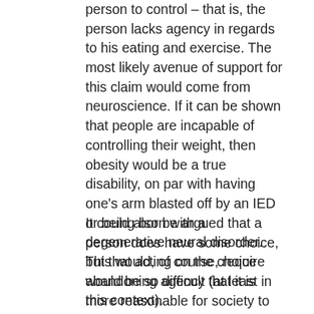person to control – that is, the person lacks agency in regards to his eating and exercise. The most likely avenue of support for this claim would come from neuroscience. If it can be shown that people are incapable of controlling their weight, then obesity would be a true disability, on par with having one's arm blasted off by an IED or being born with a degenerative neural disorder. This would, of course, require abandoning agency (at least in this context).
It could also be argued that a person does have some choice, but that acting on the choice would be so difficult that it is more reasonable for society to accommodate the